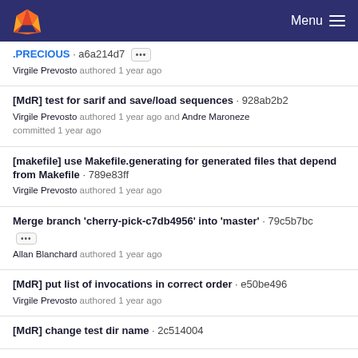GitLab Menu
.PRECIOUS · a6a214d7 [...] Virgile Prevosto authored 1 year ago
[MdR] test for sarif and save/load sequences · 928ab2b2
Virgile Prevosto authored 1 year ago and Andre Maroneze committed 1 year ago
[makefile] use Makefile.generating for generated files that depend from Makefile · 789e83ff
Virgile Prevosto authored 1 year ago
Merge branch 'cherry-pick-c7db4956' into 'master' · 79c5b7bc [...]
Allan Blanchard authored 1 year ago
[MdR] put list of invocations in correct order · e50be496
Virgile Prevosto authored 1 year ago
[MdR] change test dir name · 2c514004